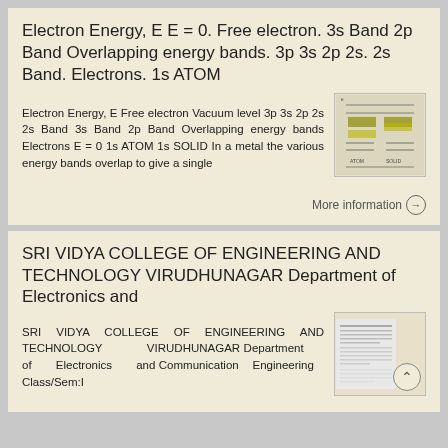Electron Energy, E E = 0. Free electron. 3s Band 2p Band Overlapping energy bands. 3p 3s 2p 2s. 2s Band. Electrons. 1s ATOM
Electron Energy, E Free electron Vacuum level 3p 3s 2p 2s 2s Band 3s Band 2p Band Overlapping energy bands Electrons E = 0 1s ATOM 1s SOLID In a metal the various energy bands overlap to give a single
[Figure (illustration): Thumbnail image of energy band diagram showing overlapping energy levels for atom and solid]
More information →
SRI VIDYA COLLEGE OF ENGINEERING AND TECHNOLOGY VIRUDHUNAGAR Department of Electronics and
SRI VIDYA COLLEGE OF ENGINEERING AND TECHNOLOGY VIRUDHUNAGAR Department of Electronics and Communication Engineering Class/Sem:I
[Figure (screenshot): Thumbnail image of a document page from Sri Vidya College showing text content]